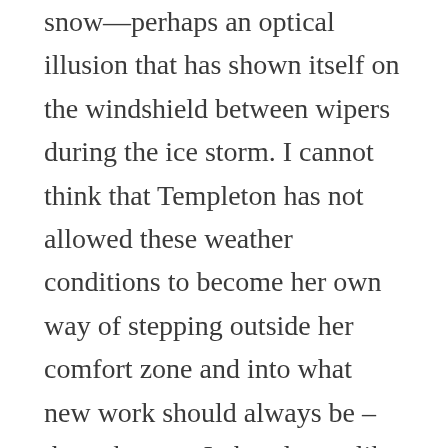snow—perhaps an optical illusion that has shown itself on the windshield between wipers during the ice storm. I cannot think that Templeton has not allowed these weather conditions to become her own way of stepping outside her comfort zone and into what new work should always be – the unknown. In her dream-like trance, assembled out of bed sheets, night stars, and planets, rolled out like an Asian scroll painting, the format of her work has the appearance of a vertical slice taken out of a vast horizontal space. A space that could be